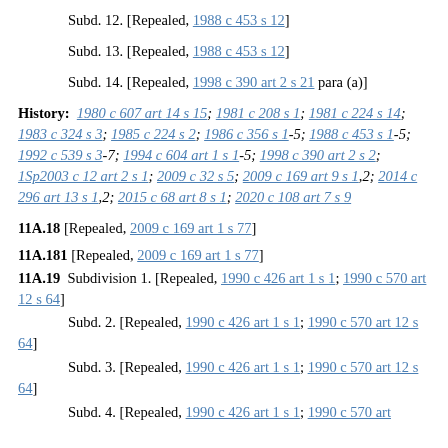Subd. 12. [Repealed, 1988 c 453 s 12]
Subd. 13. [Repealed, 1988 c 453 s 12]
Subd. 14. [Repealed, 1998 c 390 art 2 s 21 para (a)]
History: 1980 c 607 art 14 s 15; 1981 c 208 s 1; 1981 c 224 s 14; 1983 c 324 s 3; 1985 c 224 s 2; 1986 c 356 s 1-5; 1988 c 453 s 1-5; 1992 c 539 s 3-7; 1994 c 604 art 1 s 1-5; 1998 c 390 art 2 s 2; 1Sp2003 c 12 art 2 s 1; 2009 c 32 s 5; 2009 c 169 art 9 s 1,2; 2014 c 296 art 13 s 1,2; 2015 c 68 art 8 s 1; 2020 c 108 art 7 s 9
11A.18 [Repealed, 2009 c 169 art 1 s 77]
11A.181 [Repealed, 2009 c 169 art 1 s 77]
11A.19 Subdivision 1. [Repealed, 1990 c 426 art 1 s 1; 1990 c 570 art 12 s 64]
Subd. 2. [Repealed, 1990 c 426 art 1 s 1; 1990 c 570 art 12 s 64]
Subd. 3. [Repealed, 1990 c 426 art 1 s 1; 1990 c 570 art 12 s 64]
Subd. 4. [Repealed, 1990 c 426 art 1 s 1; 1990 c 570 art